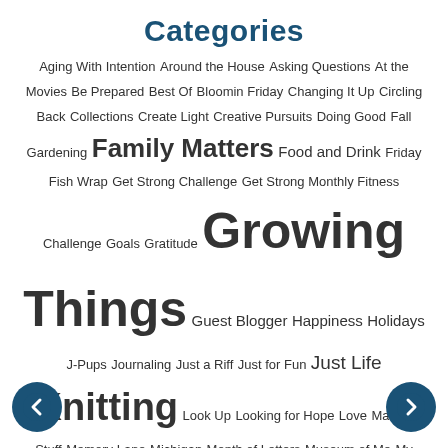Categories
Aging With Intention Around the House Asking Questions At the Movies Be Prepared Best Of Bloomin Friday Changing It Up Circling Back Collections Create Light Creative Pursuits Doing Good Fall Gardening Family Matters Food and Drink Friday Fish Wrap Get Strong Challenge Get Strong Monthly Fitness Challenge Goals Gratitude Growing Things Guest Blogger Happiness Holidays J-Pups Journaling Just a Riff Just for Fun Just Life Knitting Look Up Looking for Hope Love Making Stuff Memory Lane Michigan Month of Letters Museum of Me My Favorite Things NaBloPoMo One Little Word One Little Word: Balance One Little Word: Flow One Little Word: Focus One Little Word: Intention One Little Word: Journey One Little Word: Possibility One Little Word: Risk One Little Word: Root One Little Word: Shift One Little Word: Surprise Out My Window Picking Up the Pieces Postcards from the Edge Proud Mom Read With Us Reading Reclaiming Christmas Right Now Say It Seasonal September = Fresh Start Silent Poetry Simple Pleasures Sometimes Mondays Soundtrack of My Life Spring Cleaning Digital